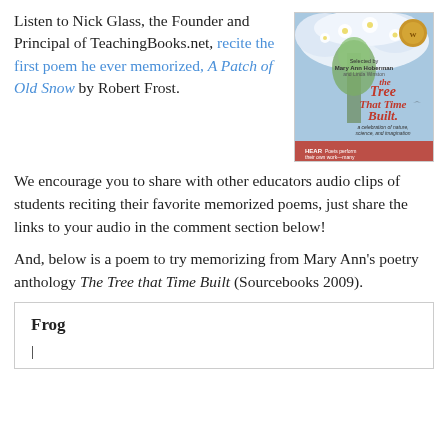Listen to Nick Glass, the Founder and Principal of TeachingBooks.net, recite the first poem he ever memorized, A Patch of Old Snow by Robert Frost.
[Figure (photo): Book cover of 'The Tree that Time Built' selected by Mary Ann Hoberman and Linda Winston, a celebration of nature, science, and imagination. Features a stylized tree with white flowers against a blue sky.]
We encourage you to share with other educators audio clips of students reciting their favorite memorized poems, just share the links to your audio in the comment section below!
And, below is a poem to try memorizing from Mary Ann's poetry anthology The Tree that Time Built (Sourcebooks 2009).
Frog